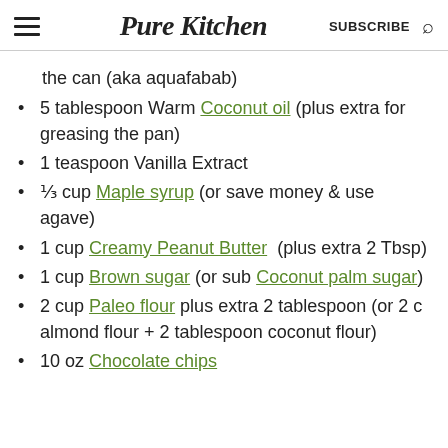Pure Kitchen | SUBSCRIBE
the can (aka aquafabab)
5 tablespoon Warm Coconut oil (plus extra for greasing the pan)
1 teaspoon Vanilla Extract
⅓ cup Maple syrup (or save money & use agave)
1 cup Creamy Peanut Butter (plus extra 2 Tbsp)
1 cup Brown sugar (or sub Coconut palm sugar)
2 cup Paleo flour plus extra 2 tablespoon (or 2 c almond flour + 2 tablespoon coconut flour)
10 oz Chocolate chips